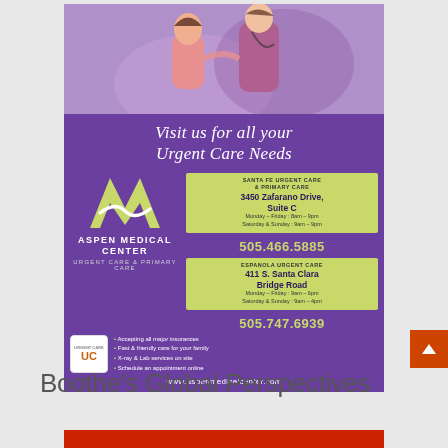[Figure (illustration): Advertisement for Aspen Medical Center Urgent Care & Primary Care. Purple background with photo of nurse treating child. Text: 'Visit us for all your Urgent Care Needs'. Two location boxes listing Santa Fe Urgent Care (3450 Zafarano Drive, Suite C, 505.466.5885) and Espanola Urgent Care (411 S. Santa Clara Bridge Road, 505.747.6939). Bullet points: Accepting all major insurances, Fast & friendly care for your family, X-ray & Lab services on site, Schedule an appointment online. Website: www.aspenmedicalcenter.com]
Boothe's Global Perspectives
[Figure (illustration): Red banner/header for Boothe's Global Perspectives section]